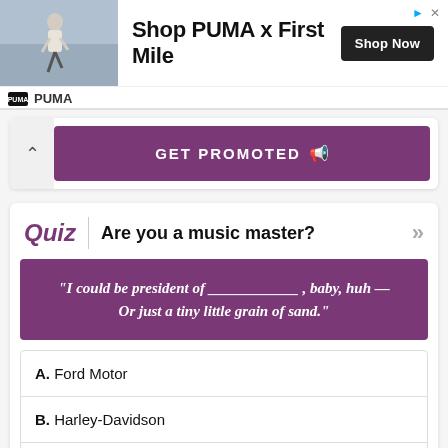[Figure (photo): PUMA advertisement banner showing a runner in athletic wear with text 'Shop PUMA x First Mile' and a 'Shop Now' button. PUMA logo at the bottom left.]
GET PROMOTED
Quiz | Are you a music master?
"I could be president of ____________ , baby, huh — Or just a tiny little grain of sand."
A. Ford Motor
B. Harley-Davidson
C. General Motors